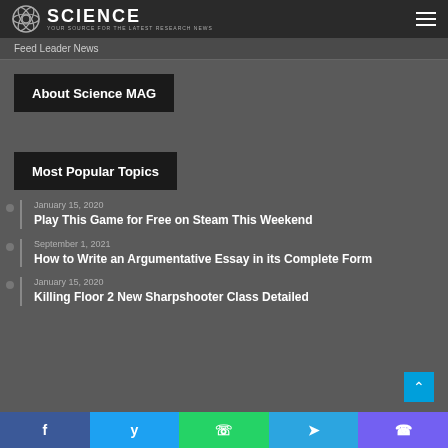SCIENCE — Your source for the latest research news
Feed Leader News
About Science MAG
Most Popular Topics
January 15, 2020 — Play This Game for Free on Steam This Weekend
September 1, 2021 — How to Write an Argumentative Essay in its Complete Form
January 15, 2020 — Killing Floor 2 New Sharpshooter Class Detailed
f  t  WhatsApp  Telegram  Viber